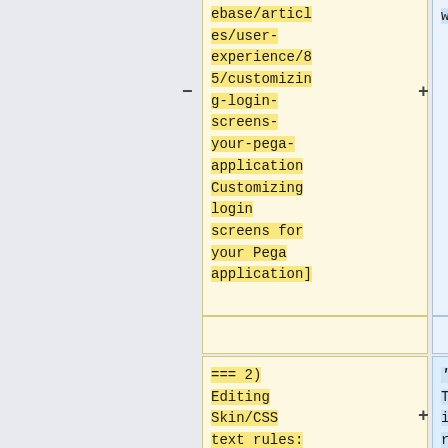ebase/articles/user-experience/85/customizing-login-screens-your-pega-application Customizing login screens for your Pega application]
<code>web.xml</code>.
=== 2) Editing Skin/CSS text rules: ===
'''Note:''' This method is not recommended for Pega Cloud because it